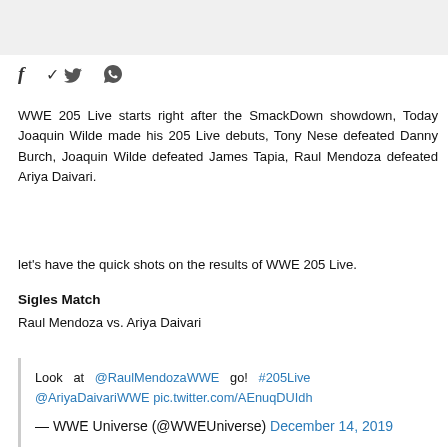[Figure (other): Social media share icons: Facebook (f), Twitter (bird), WhatsApp (phone)]
WWE 205 Live starts right after the SmackDown showdown, Today Joaquin Wilde made his 205 Live debuts, Tony Nese defeated Danny Burch, Joaquin Wilde defeated James Tapia, Raul Mendoza defeated Ariya Daivari.
let's have the quick shots on the results of WWE 205 Live.
Sigles Match
Raul Mendoza vs. Ariya Daivari
Look at @RaulMendozaWWE go! #205Live @AriyaDaivariWWE pic.twitter.com/AEnuqDUIdh
— WWE Universe (@WWEUniverse) December 14, 2019